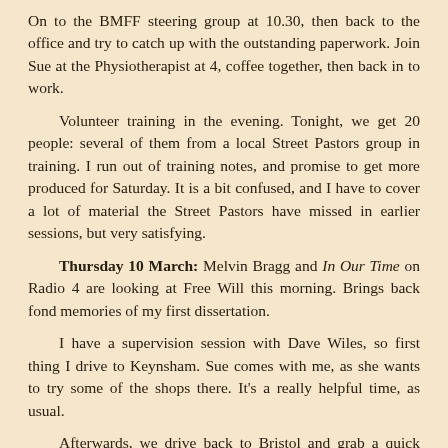On to the BMFF steering group at 10.30, then back to the office and try to catch up with the outstanding paperwork. Join Sue at the Physiotherapist at 4, coffee together, then back in to work.
Volunteer training in the evening. Tonight, we get 20 people: several of them from a local Street Pastors group in training. I run out of training notes, and promise to get more produced for Saturday. It is a bit confused, and I have to cover a lot of material the Street Pastors have missed in earlier sessions, but very satisfying.
Thursday 10 March: Melvin Bragg and In Our Time on Radio 4 are looking at Free Will this morning. Brings back fond memories of my first dissertation.
I have a supervision session with Dave Wiles, so first thing I drive to Keynsham. Sue comes with me, as she wants to try some of the shops there. It's a really helpful time, as usual.
Afterwards, we drive back to Bristol and grab a quick early lunch at Sainsbury's. I go into work to